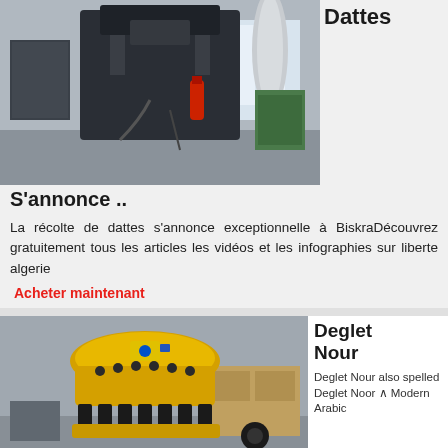[Figure (photo): Industrial machinery in a factory — large black mechanical press or forge machine indoors]
Dattes
S'annonce ..
La récolte de dattes s'annonce exceptionnelle à BiskraDécouvrez gratuitement tous les articles les vidéos et les infographies sur liberte algerie
Acheter maintenant
[Figure (photo): Large yellow industrial cone crusher machine in a warehouse or factory setting]
Deglet Nour
Deglet Nour also spelled Deglet Noor ∧ Modern Arabic